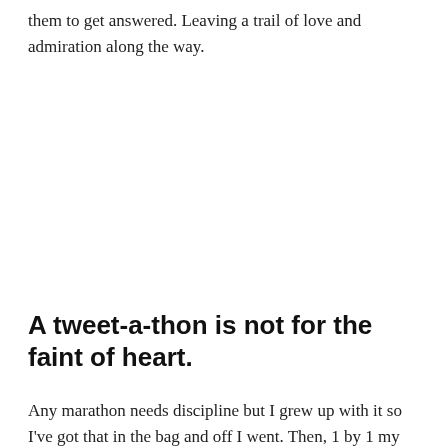them to get answered. Leaving a trail of love and admiration along the way.
A tweet-a-thon is not for the faint of heart.
Any marathon needs discipline but I grew up with it so I've got that in the bag and off I went. Then, 1 by 1 my notifications